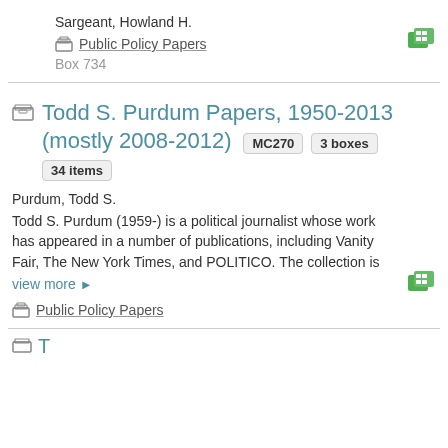Sargeant, Howland H.
Public Policy Papers
Box 734
Todd S. Purdum Papers, 1950-2013 (mostly 2008-2012) MC270 3 boxes 34 items
Purdum, Todd S.
Todd S. Purdum (1959-) is a political journalist whose work has appeared in a number of publications, including Vanity Fair, The New York Times, and POLITICO. The collection is
view more ▶
Public Policy Papers